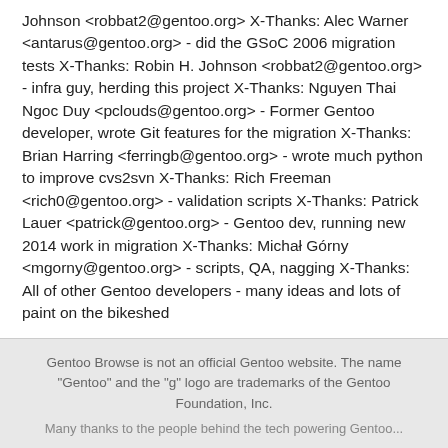Johnson <robbat2@gentoo.org> X-Thanks: Alec Warner <antarus@gentoo.org> - did the GSoC 2006 migration tests X-Thanks: Robin H. Johnson <robbat2@gentoo.org> - infra guy, herding this project X-Thanks: Nguyen Thai Ngoc Duy <pclouds@gentoo.org> - Former Gentoo developer, wrote Git features for the migration X-Thanks: Brian Harring <ferringb@gentoo.org> - wrote much python to improve cvs2svn X-Thanks: Rich Freeman <rich0@gentoo.org> - validation scripts X-Thanks: Patrick Lauer <patrick@gentoo.org> - Gentoo dev, running new 2014 work in migration X-Thanks: Michał Górny <mgorny@gentoo.org> - scripts, QA, nagging X-Thanks: All of other Gentoo developers - many ideas and lots of paint on the bikeshed
Gentoo Browse is not an official Gentoo website. The name "Gentoo" and the "g" logo are trademarks of the Gentoo Foundation, Inc.
Many thanks to the people behind the tech powering Gentoo...